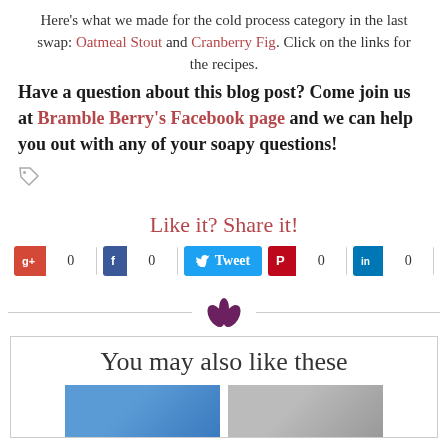Here's what we made for the cold process category in the last swap: Oatmeal Stout and Cranberry Fig. Click on the links for the recipes.
Have a question about this blog post? Come join us at Bramble Berry's Facebook page and we can help you out with any of your soapy questions!
[Figure (infographic): Tag icon (price tag shape, gray)]
Like it? Share it!
[Figure (infographic): Social share buttons row: Google+1 (0), Facebook (0), Twitter Tweet, Pinterest (0), LinkedIn (0)]
[Figure (logo): Bramble Berry decorative flower/leaf logo in dark magenta]
You may also like these
[Figure (photo): Two thumbnail images side by side at the bottom of the page]